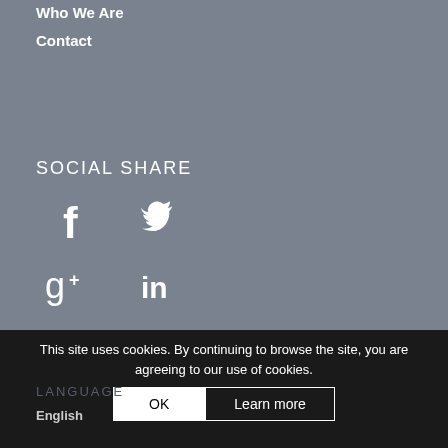Who We Are
Contact
SOCIAL SHARE
[Figure (infographic): Social share icons: Facebook (f), Twitter (bird), Google+ (g+), LinkedIn (in)]
This site uses cookies. By continuing to browse the site, you are agreeing to our use of cookies.
OK  Learn more
LANGUAGE
English